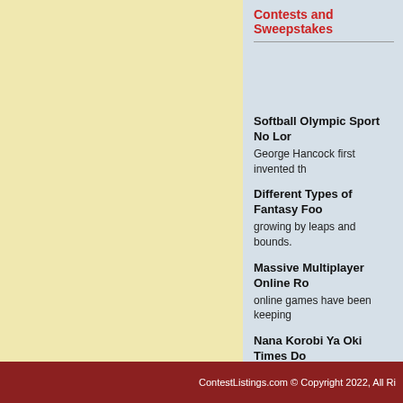Contests and Sweepstakes
Softball Olympic Sport No Lor
George Hancock first invented th
Different Types of Fantasy Foo
growing by leaps and bounds.
Massive Multiplayer Online Ro
online games have been keeping
Nana Korobi Ya Oki Times Do Art of Ninjutsu - On the left lap there is a patch bearing the Japan
Big Game Hunting Network Be Survive The Global Warming - world.
more...
ContestListings.com © Copyright 2022, All Ri